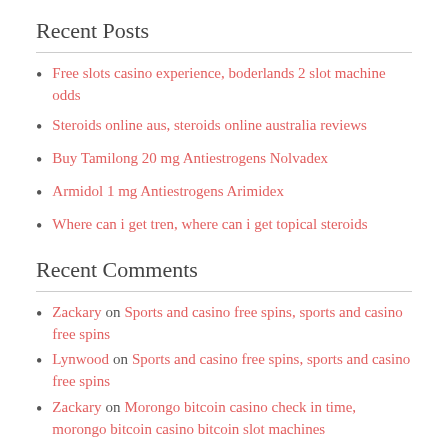Recent Posts
Free slots casino experience, boderlands 2 slot machine odds
Steroids online aus, steroids online australia reviews
Buy Tamilong 20 mg Antiestrogens Nolvadex
Armidol 1 mg Antiestrogens Arimidex
Where can i get tren, where can i get topical steroids
Recent Comments
Zackary on Sports and casino free spins, sports and casino free spins
Lynwood on Sports and casino free spins, sports and casino free spins
Zackary on Morongo bitcoin casino check in time, morongo bitcoin casino bitcoin slot machines
DavidSlock on Generic bulking routine vs 531, generic bulking routine
DavidSlock on Generic bulking routine vs 531, generic bulking routine